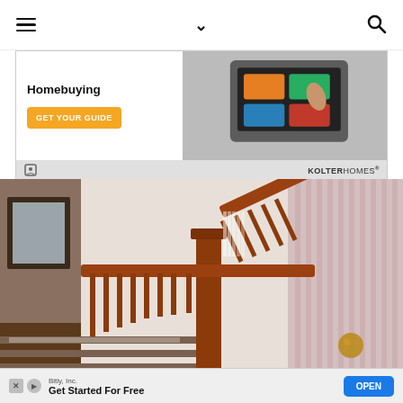Navigation bar with hamburger menu, chevron, and search icon
[Figure (photo): Kolter Homes advertisement banner: 'Homebuying' title with orange GET YOUR GUIDE button on left, tablet device image with colorful cards on right, Kolter Homes logo at bottom]
[Figure (photo): Interior photo of a wooden staircase with dark wood banister, spindles, and newel post. Striped wallpaper visible on right wall. Carpeted stairs visible at bottom.]
[Figure (photo): Bottom advertisement banner: Bitly, Inc. - Get Started For Free - OPEN button]